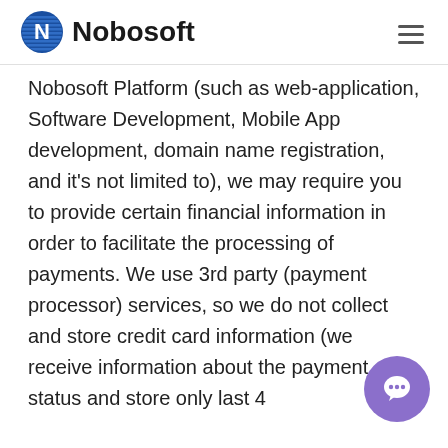Nobosoft
Nobosoft Platform (such as web-application, Software Development, Mobile App development, domain name registration, and it's not limited to), we may require you to provide certain financial information in order to facilitate the processing of payments. We use 3rd party (payment processor) services, so we do not collect and store credit card information (we receive information about the payment status and store only last 4